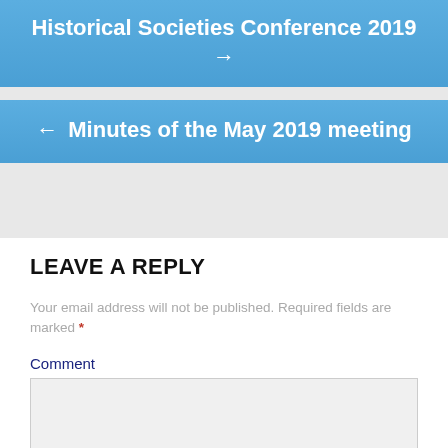[Figure (screenshot): Blue navigation button with text 'Historical Societies Conference 2019 →']
[Figure (screenshot): Blue navigation button with text '← Minutes of the May 2019 meeting']
LEAVE A REPLY
Your email address will not be published. Required fields are marked *
Comment